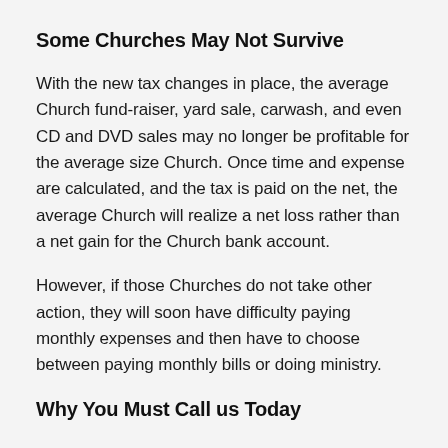Some Churches May Not Survive
With the new tax changes in place, the average Church fund-raiser, yard sale, carwash, and even CD and DVD sales may no longer be profitable for the average size Church. Once time and expense are calculated, and the tax is paid on the net, the average Church will realize a net loss rather than a net gain for the Church bank account.
However, if those Churches do not take other action, they will soon have difficulty paying monthly expenses and then have to choose between paying monthly bills or doing ministry.
Why You Must Call us Today